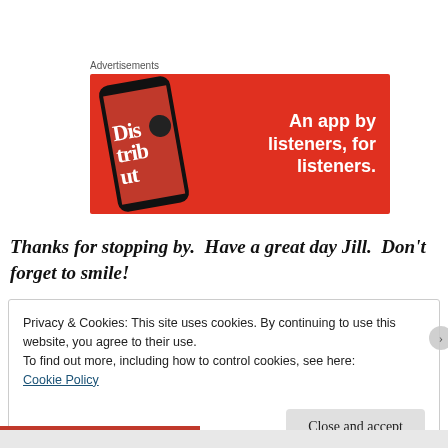[Figure (illustration): Red advertisement banner for a music/podcast app showing a smartphone with 'Distrib' text on screen and tagline 'An app by listeners, for listeners.' on red background]
Advertisements
Thanks for stopping by.  Have a great day Jill.  Don't forget to smile!
Privacy & Cookies: This site uses cookies. By continuing to use this website, you agree to their use.
To find out more, including how to control cookies, see here:
Cookie Policy
Close and accept